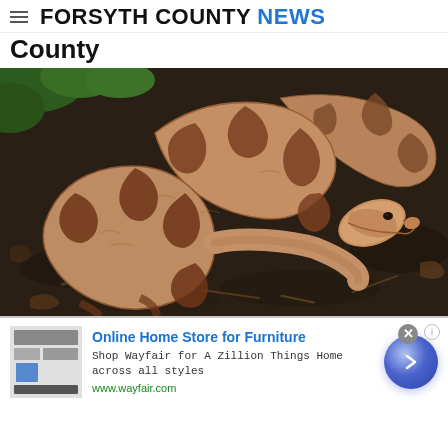FORSYTH COUNTY NEWS
County
[Figure (photo): A copperhead snake coiled on dark soil among fallen leaves, showing characteristic hourglass-patterned brown and tan scales, with its head visible facing right]
Online Home Store for Furniture
Shop Wayfair for A Zillion Things Home across all styles
www.wayfair.com